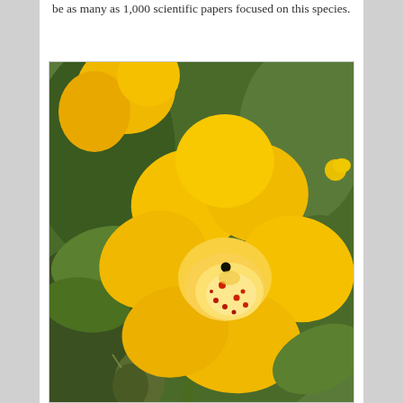be as many as 1,000 scientific papers focused on this species.
[Figure (photo): Close-up photograph of a bright yellow Mimulus (monkeyflower) bloom with red-spotted interior throat, green leaves and stem visible in background]